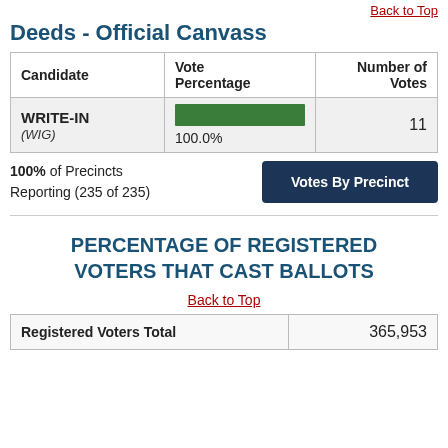Back to Top
Deeds - Official Canvass
| Candidate | Vote Percentage | Number of Votes |
| --- | --- | --- |
| WRITE-IN (WIG) | 100.0% | 11 |
100% of Precincts Reporting (235 of 235)
Votes By Precinct
PERCENTAGE OF REGISTERED VOTERS THAT CAST BALLOTS
Back to Top
| Registered Voters Total | 365,953 |
| --- | --- |